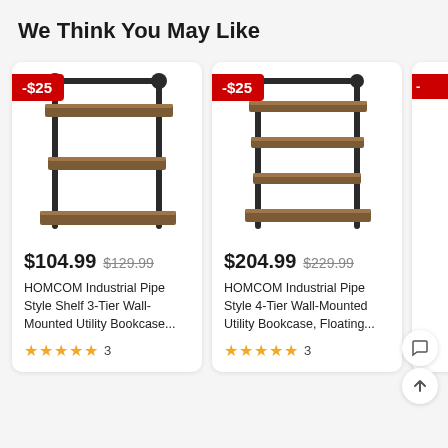We Think You May Like
[Figure (photo): HOMCOM Industrial Pipe Style Shelf 3-Tier Wall-Mounted product image with -$25 discount badge]
$104.99 $129.99
HOMCOM Industrial Pipe Style Shelf 3-Tier Wall-Mounted Utility Bookcase...
★★★★★ 3
[Figure (photo): HOMCOM Industrial Pipe Style 4-Tier Wall-Mounted product image with -$25 discount badge]
$204.99 $229.99
HOMCOM Industrial Pipe Style 4-Tier Wall-Mounted Utility Bookcase, Floating...
★★★★★ 3